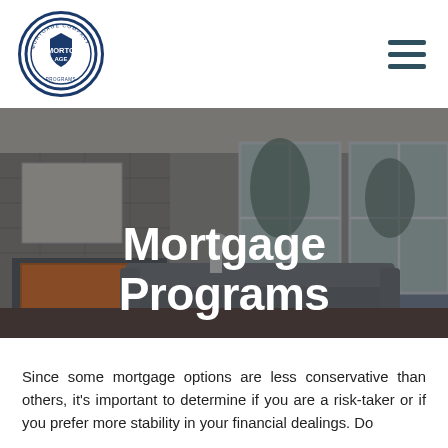[Figure (logo): Circular mortgage company logo with blue border and text around the edge, shield/banner in center]
[Figure (other): Hamburger menu icon — three horizontal dark teal lines]
[Figure (photo): Interior of a modern living room with fireplace, stone wall, large windows, gray sofa, dark coffee table, and warm lighting. Serves as hero image background.]
Mortgage Programs
Since some mortgage options are less conservative than others, it's important to determine if you are a risk-taker or if you prefer more stability in your financial dealings. Do